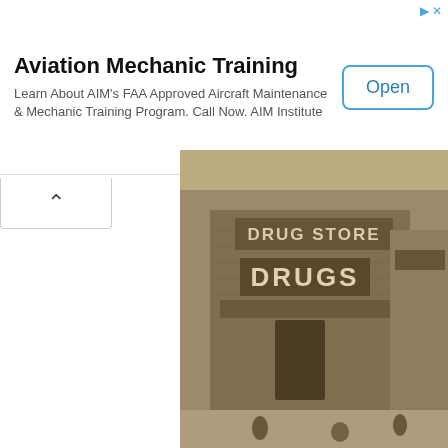[Figure (other): Advertisement banner for Aviation Mechanic Training by AIM Institute with an Open button]
Aviation Mechanic Training
Learn About AIM's FAA Approved Aircraft Maintenance & Mechanic Training Program. Call Now. AIM Institute
[Figure (photo): Photo of a small red brick building (water tower keeper's house) with trees and a car in background. Caption reads 'The water towe... Photo by Ken Rud... More Texas W...']
The water towe
Photo by Ken Rud
More Texas W
[Figure (photo): Black and white historical photo of a drug store building with signs reading 'DRUG STORE' and 'DRUGS']